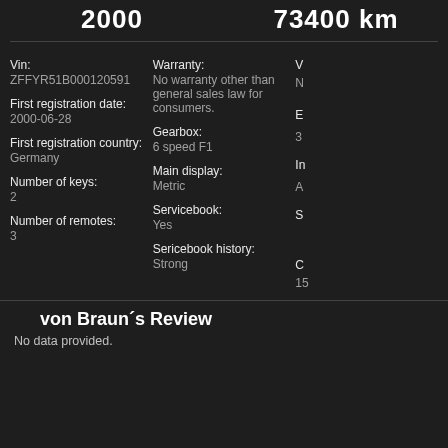2000
73400 km
Vin:
ZFFYR51B000120591
Warranty:
No warranty other than general sales law for consumers.
First registration date:
2000-06-28
Gearbox:
6 speed F1
First registration country:
Germany
Main display:
Metric
Number of keys:
2
Servicebook:
Yes
Number of remotes:
3
Sericebook history:
Strong
von Braun´s Review
No data provided.